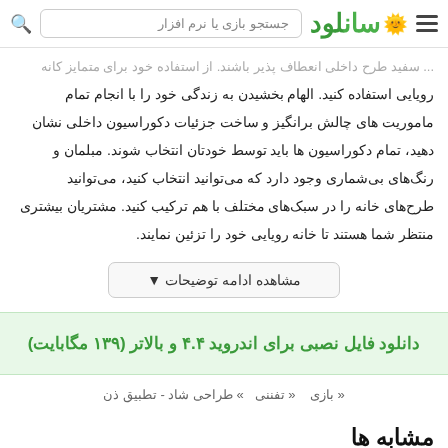سانلود - جستجو بازی یا نرم افزار
... رویایی استفاده کنید. الهام بخشیدن به زندگی خود را با انجام تمام ماموریت های چالش برانگیز و ساخت جزئیات دکوراسیون داخلی نشان دهید، تمام دکوراسیون ها باید توسط خودتان انتخاب شوند. مبلمان و رنگ‌های بی‌شماری وجود دارد که می‌توانید انتخاب کنید، می‌توانید طرح‌های خانه را در سبک‌های مختلف با هم ترکیب کنید. مشتریان بیشتری منتظر شما هستند تا خانه رویایی خود را تزئین نمایند.
مشاهده ادامه توضیحات ▼
دانلود فایل نصبی برای اندروید ۴.۴ و بالاتر (۱۳۹ مگابایت)
« بازی  « تفننی  » طراحی شاد - تطبیق ذن
مشابه ها